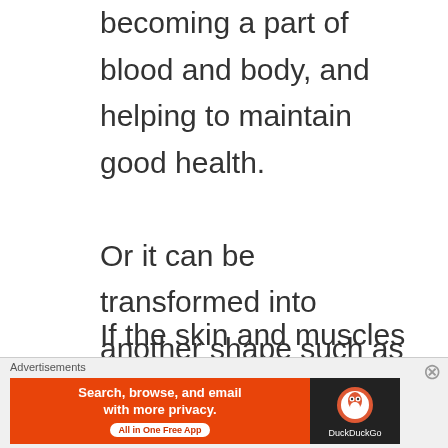becoming a part of blood and body, and helping to maintain good health.
Or it can be transformed into another shape such as excrement.
If the skin and muscles
Advertisements
[Figure (other): DuckDuckGo advertisement banner: orange background with text 'Search, browse, and email with more privacy. All in One Free App' and DuckDuckGo logo on dark background]